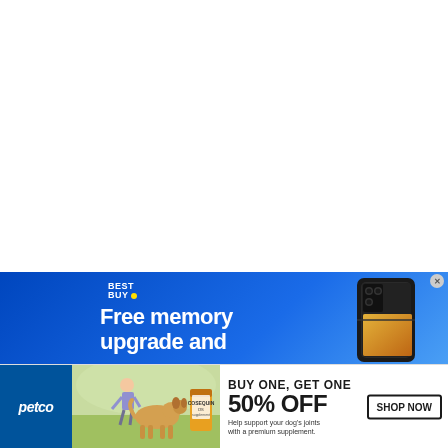[Figure (illustration): White empty space occupying top portion of page]
[Figure (infographic): Best Buy advertisement banner with blue gradient background, Best Buy logo, text 'Free memory upgrade and', and image of Samsung Galaxy Z Fold smartphone]
[Figure (infographic): Petco advertisement banner showing Petco logo, woman with dog and supplement product image, BUY ONE GET ONE 50% OFF offer text, and SHOP NOW button]